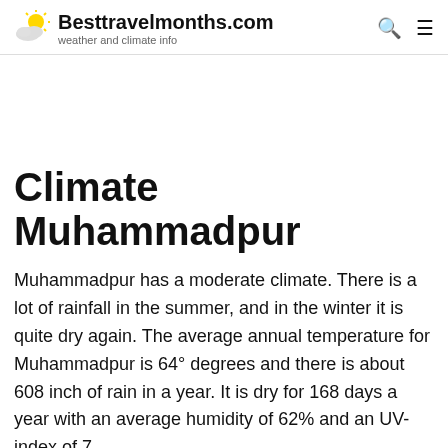Besttravelmonths.com — weather and climate info
Climate Muhammadpur
Muhammadpur has a moderate climate. There is a lot of rainfall in the summer, and in the winter it is quite dry again. The average annual temperature for Muhammadpur is 64° degrees and there is about 608 inch of rain in a year. It is dry for 168 days a year with an average humidity of 62% and an UV-index of 7.